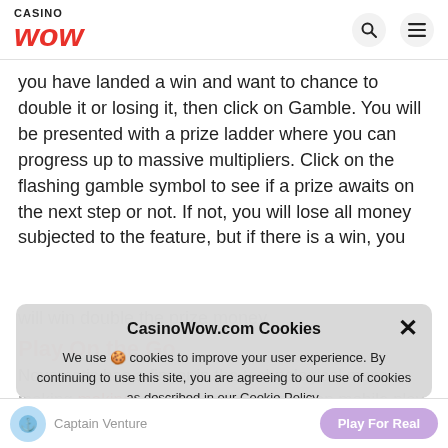CASINO WOW
you have landed a win and want to chance to double it or losing it, then click on Gamble. You will be presented with a prize ladder where you can progress up to massive multipliers. Click on the flashing gamble symbol to see if a prize awaits on the next step or not. If not, you will lose all money subjected to the feature, but if there is a win, you will win double the prize money.
Play On the Go
Novomatic has a finger in the technological mass making sure the game will play on mobile play.
Most Android and tablets will render
CasinoWow.com Cookies
We use 🍪 cookies to improve your user experience. By continuing to use this site, you are agreeing to our use of cookies as described in our Cookie Policy.
Accept
Captain Venture  Play For Real